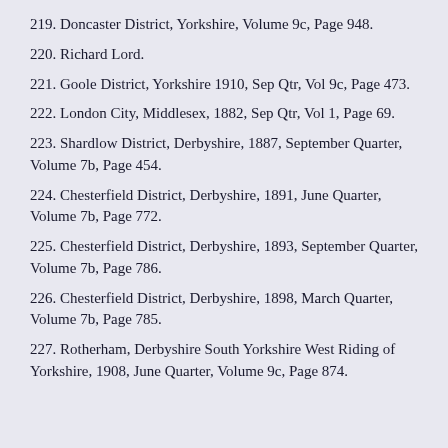219. Doncaster District, Yorkshire, Volume 9c, Page 948.
220. Richard Lord.
221. Goole District, Yorkshire 1910, Sep Qtr, Vol 9c, Page 473.
222. London City, Middlesex, 1882, Sep Qtr, Vol 1, Page 69.
223. Shardlow District, Derbyshire, 1887, September Quarter, Volume 7b, Page 454.
224. Chesterfield District, Derbyshire, 1891, June Quarter, Volume 7b, Page 772.
225. Chesterfield District, Derbyshire, 1893, September Quarter, Volume 7b, Page 786.
226. Chesterfield District, Derbyshire, 1898, March Quarter, Volume 7b, Page 785.
227. Rotherham, Derbyshire South Yorkshire West Riding of Yorkshire, 1908, June Quarter, Volume 9c, Page 874.